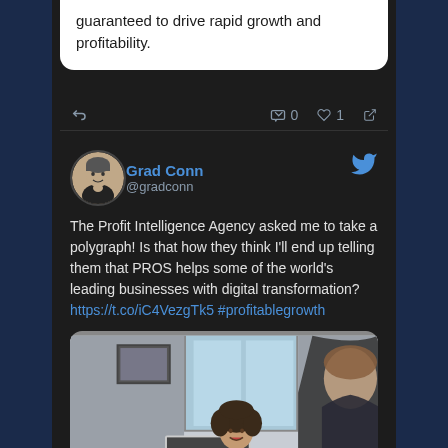guaranteed to drive rapid growth and profitability.
Grad Conn @gradconn
The Profit Intelligence Agency asked me to take a polygraph! Is that how they think I'll end up telling them that PROS helps some of the world's leading businesses with digital transformation? https://t.co/iC4VezgTk5 #profitablegrowth
[Figure (photo): A woman in a grey blazer gestures with her hands while speaking across a table with a laptop, viewed from behind a man in a suit, in a bright office setting.]